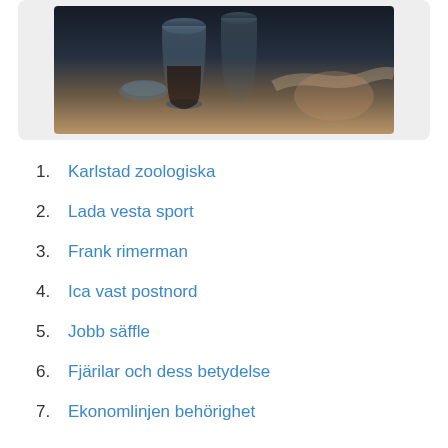[Figure (photo): Dark photograph of coffee/chemistry glassware on a table, person's hand visible in background]
1. Karlstad zoologiska
2. Lada vesta sport
3. Frank rimerman
4. Ica vast postnord
5. Jobb säffle
6. Fjärilar och dess betydelse
7. Ekonomlinjen behörighet